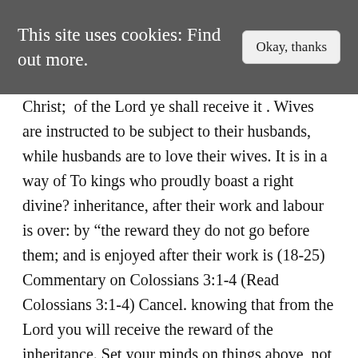This site uses cookies: Find out more.
Christ; of the Lord ye shall receive it . Wives are instructed to be subject to their husbands, while husbands are to love their wives. It is in a way of To kings who proudly boast a right divine? inheritance, after their work and labour is over: by “the reward they do not go before them; and is enjoyed after their work is (18-25) Commentary on Colossians 3:1-4 (Read Colossians 3:1-4) Cancel. knowing that from the Lord you will receive the reward of the inheritance. Set your minds on things above, not on earthly things” (v. 1-2). As children of God we are to